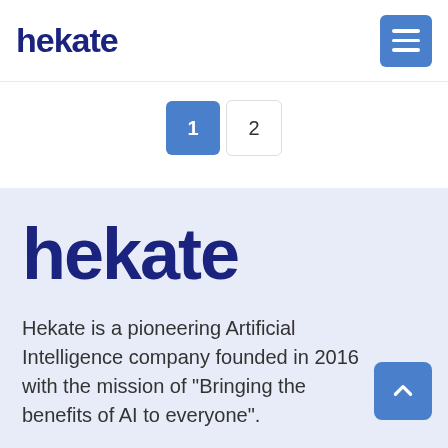hekate
1  2
hekate
Hekate is a pioneering Artificial Intelligence company founded in 2016 with the mission of "Bringing the benefits of AI to everyone".